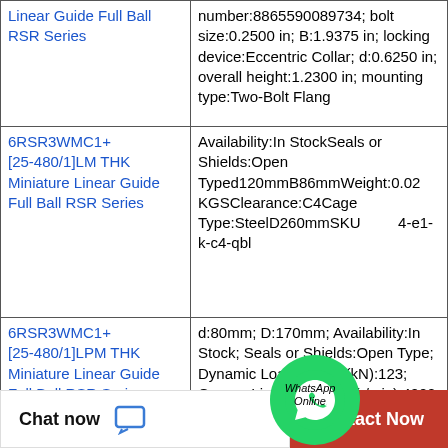| Product | Details |
| --- | --- |
| Linear Guide Full Ball RSR Series | number:8865590089734; bolt size:0.2500 in; B:1.9375 in; locking device:Eccentric Collar; d:0.6250 in; overall height:1.2300 in; mounting type:Two-Bolt Flang |
| 6RSR3WMC1+[25-480/1]LM THK Miniature Linear Guide Full Ball RSR Series | Availability:In StockSeals or Shields:Open Typed120mmB86mmWeight:0.02 KGSClearance:C4Cage Type:SteelD260mmSKU 4-e1-k-c4-qbl |
| 6RSR3WMC1+[25-480/1]LPM THK Miniature Linear Guide Full Ball RSR Series | d:80mm; D:170mm; Availability:In Stock; Seals or Shields:Open Type; Dynamic Load Rating (kN):123; Grease Limiting Speed (r/min):4000; Static Load Rating (kN):86.5; Cage Type:Brass; SKU:6316m-nsk; Weight:3.67 KGS; B:39mm; Oil Limiting Speed |
[Figure (logo): WhatsApp green circle icon with phone handset]
WhatsApp Online
Chat now | Contact Now